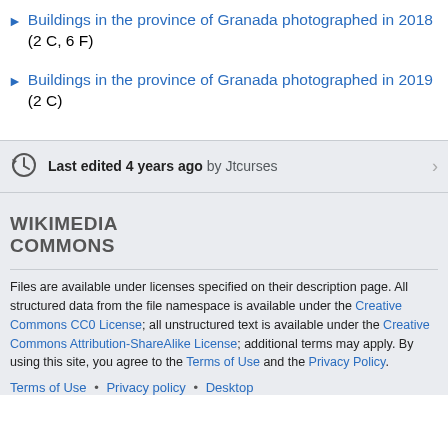Buildings in the province of Granada photographed in 2018 (2 C, 6 F)
Buildings in the province of Granada photographed in 2019 (2 C)
Last edited 4 years ago by Jtcurses
WIKIMEDIA COMMONS
Files are available under licenses specified on their description page. All structured data from the file namespace is available under the Creative Commons CC0 License; all unstructured text is available under the Creative Commons Attribution-ShareAlike License; additional terms may apply. By using this site, you agree to the Terms of Use and the Privacy Policy.
Terms of Use • Privacy policy • Desktop